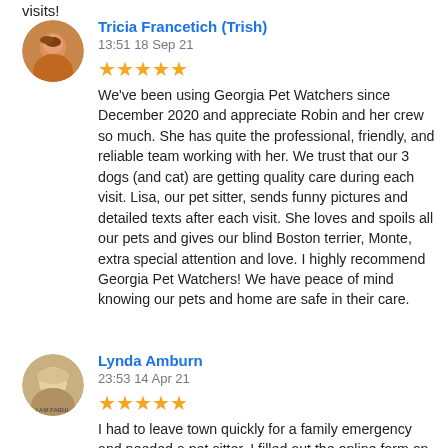visits!
Tricia Francetich (Trish)
13:51 18 Sep 21
We've been using Georgia Pet Watchers since December 2020 and appreciate Robin and her crew so much.  She has quite the professional, friendly, and reliable team working with her.  We trust that our 3 dogs (and cat) are getting quality care during each visit.  Lisa, our pet sitter, sends funny pictures and detailed texts after each visit.  She loves and spoils all our pets and gives our blind Boston terrier, Monte, extra special attention and love.  I highly recommend Georgia Pet Watchers!  We have peace of mind knowing our pets and home are safe in their care.
Lynda Amburn
23:53 14 Apr 21
I had to leave town quickly for a family emergency and needed a pet sitter. I filled out the online form on a Saturday and not long after I got a call from Robin. She set up a meeting for next day with